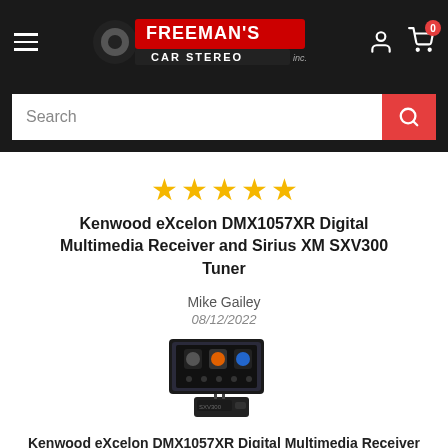Freeman's Car Stereo — navigation header with hamburger menu, logo, user icon, and cart (0)
Search
★★★★★
Kenwood eXcelon DMX1057XR Digital Multimedia Receiver and Sirius XM SXV300 Tuner
Mike Gailey
08/12/2022
[Figure (photo): Product photo of Kenwood eXcelon DMX1057XR Digital Multimedia Receiver with SXV300 Sirius XM tuner]
Kenwood eXcelon DMX1057XR Digital Multimedia Receiver a...